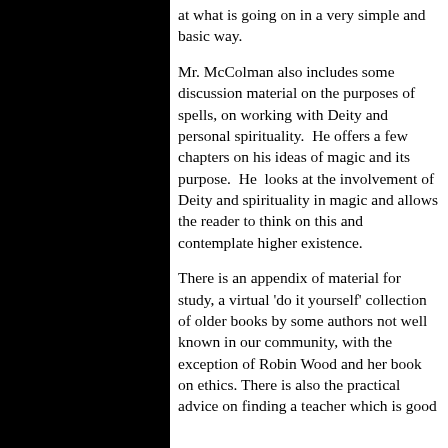at what is going on in a very simple and basic way.
Mr. McColman also includes some discussion material on the purposes of spells, on working with Deity and personal spirituality.  He offers a few chapters on his ideas of magic and its purpose.  He  looks at the involvement of Deity and spirituality in magic and allows the reader to think on this and contemplate higher existence.
There is an appendix of material for study, a virtual 'do it yourself' collection of older books by some authors not well known in our community, with the exception of Robin Wood and her book on ethics. There is also the practical advice on finding a teacher which is good advice in any book. There is also a